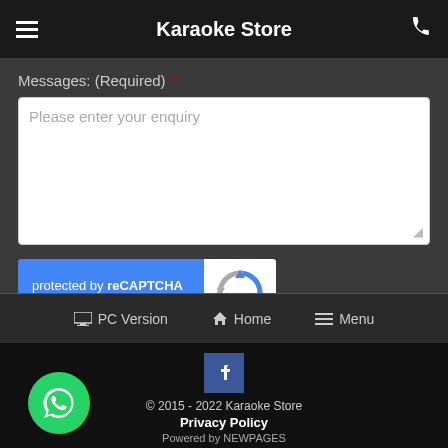Karaoke Store
Messages: (Required) *
Please enter your enquiry
[Figure (screenshot): reCAPTCHA widget showing 'protected by reCAPTCHA' with Privacy and Terms links, and the reCAPTCHA logo]
Send
PC Version   Home   Menu
© 2015 - 2022 Karaoke Store
Privacy Policy
Powered by NEWPAGES